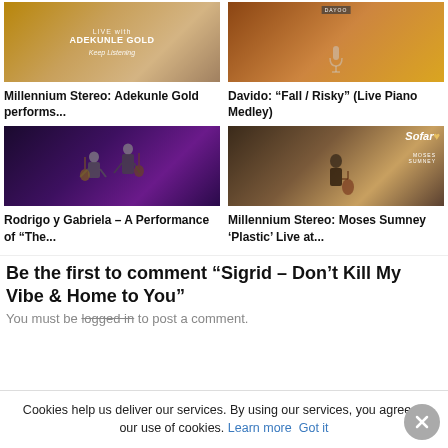[Figure (photo): Thumbnail image for Millennium Stereo: Adekunle Gold performs - shows 'LIVE with ADEKUNLE GOLD' text and 'Keep Listening' italic text on warm background]
Millennium Stereo: Adekunle Gold performs...
[Figure (photo): Thumbnail image for Davido: Fall / Risky Live Piano Medley - shows Davido at microphone with warm amber background]
Davido: “Fall / Risky” (Live Piano Medley)
[Figure (photo): Thumbnail image for Rodrigo y Gabriela performance - two guitarists on stage with purple/dark background]
Rodrigo y Gabriela – A Performance of “The...
[Figure (photo): Thumbnail image for Millennium Stereo: Moses Sumney Plastic Live - shows Moses Sumney with guitar, Sofar logo in top right, warm lighting]
Millennium Stereo: Moses Sumney ‘Plastic’ Live at...
Be the first to comment “Sigrid – Don’t Kill My Vibe & Home to You”
You must be logged in to post a comment.
Cookies help us deliver our services. By using our services, you agree to our use of cookies. Learn more  Got it